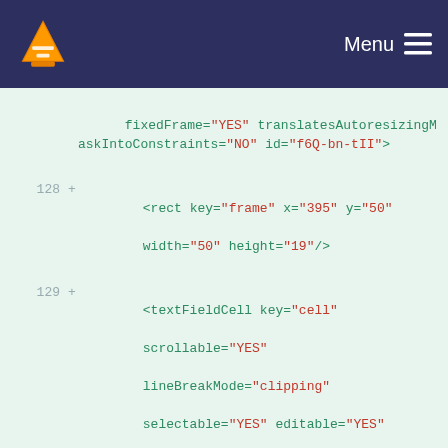VLC Menu
fixedFrame="YES" translatesAutoresizingMaskIntoConstraints="NO" id="f6Q-bn-tII">
128 + <rect key="frame" x="395" y="50" width="50" height="19"/>
129 + <textFieldCell key="cell" scrollable="YES" lineBreakMode="clipping" selectable="YES" editable="YES" enabled="NO" sendsActionOnEndEditing="YES" state="on" borderStyle="bezel" alignment="right" title="1234" drawsBackground="YES" id="u8D-ZB-t1Z">
130 + <font key="font"